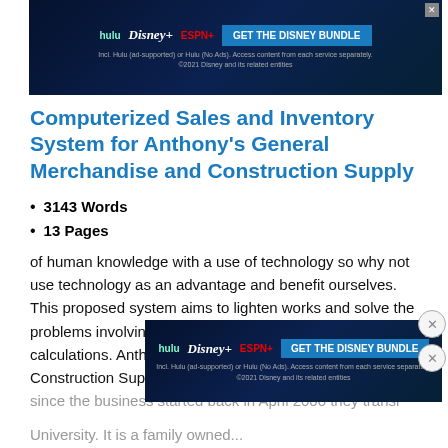[Figure (other): Hulu Disney+ ESPN+ GET THE DISNEY BUNDLE advertisement banner at top of page]
Computerized Sales and Inventory System for Anthony's General Merchandise and Construction Supply
3143 Words
13 Pages
of human knowledge with a use of technology so why not use technology as an advantage and benefit ourselves. This proposed system aims to lighten works and solve the problems involving strict and complex recording and calculations. Anthony's General Merchandise & Construction Supply is still under the manual method since the business started back in April 2000 they transi... University. It is a family owned...
[Figure (other): Hulu Disney+ ESPN+ GET THE DISNEY BUNDLE advertisement banner in middle/bottom of page]